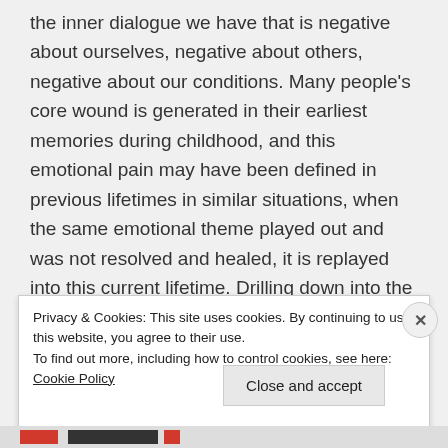the inner dialogue we have that is negative about ourselves, negative about others, negative about our conditions. Many people's core wound is generated in their earliest memories during childhood, and this emotional pain may have been defined in previous lifetimes in similar situations, when the same emotional theme played out and was not resolved and healed, it is replayed into this current lifetime. Drilling down into the core wound of unhealed emotional pain and fear, takes us into
Privacy & Cookies: This site uses cookies. By continuing to use this website, you agree to their use. To find out more, including how to control cookies, see here: Cookie Policy
Close and accept